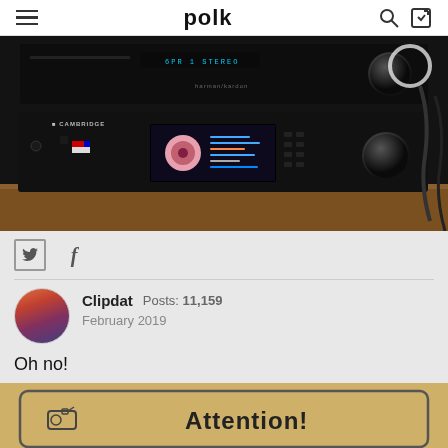polk
[Figure (photo): AV receiver stack showing a Harman Kardon or similar AV receiver on top and a Cambridge Audio network player/streamer below, both in black, sitting on a wooden shelf. The Cambridge Audio unit shows a colorful display screen with album art.]
Twitter and Facebook share icons
Clipdat  Posts: 11,159  February 2019
Oh no!
[Figure (photo): Partial view of a cardboard box insert showing a rounded-rectangle bordered area with a speaker/drill icon on the left and the bold text 'Attention!' on the right.]